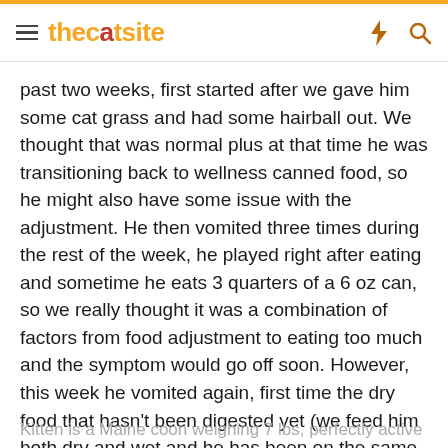thecatsite
past two weeks, first started after we gave him some cat grass and had some hairball out. We thought that was normal plus at that time he was transitioning back to wellness canned food, so he might also have some issue with the adjustment. He then vomited three times during the rest of the week, he played right after eating and sometime he eats 3 quarters of a 6 oz can, so we really thought it was a combination of factors from food adjustment to eating too much and the symptom would go off soon. However, this week he vomited again, first time the dry food that hasn't been digested yet (we feed him both dry and wet and he has been on the same dry food since months ago) then some water today. This is how I'm starting to think it could be something else.
Kitten is a Maine coon weighing 7 lbs, perfectly active